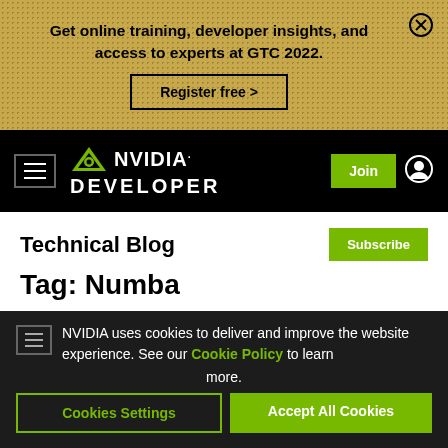[Figure (screenshot): Gold/tan textured banner advertisement for GTC 2022]
Get online training, developer insights, and access to experts at GTC 2022.
Register free >
[Figure (logo): NVIDIA Developer logo on black navigation bar with hamburger menu, Join button, and user icon]
Technical Blog
Subscribe
Tag: Numba
NVIDIA uses cookies to deliver and improve the website experience. See our Cookie Policy to learn more.
Cookies Settings
Accept All Cookies